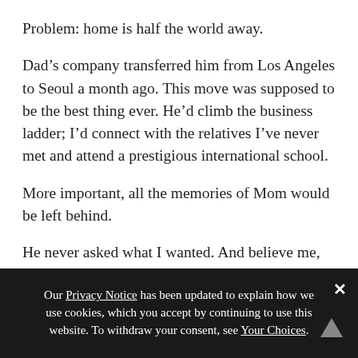Problem: home is half the world away.
Dad's company transferred him from Los Angeles to Seoul a month ago. This move was supposed to be the best thing ever. He'd climb the business ladder; I'd connect with the relatives I've never met and attend a prestigious international school.
More important, all the memories of Mom would be left behind.
He never asked what I wanted. And believe me, even though I'm obsessed with Korean archery and Tae Kwon Do, moving to the actual country—away from my friends—wasn't on my to-do list.
Our Privacy Notice has been updated to explain how we use cookies, which you accept by continuing to use this website. To withdraw your consent, see Your Choices.